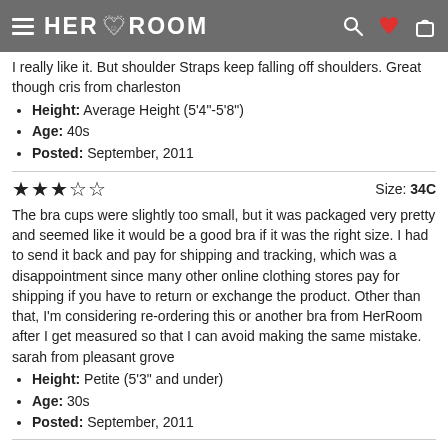HER ROOM
I really like it. But shoulder Straps keep falling off shoulders. Great though cris from charleston
Height: Average Height (5'4"-5'8")
Age: 40s
Posted: September, 2011
★★★☆☆  Size: 34C
The bra cups were slightly too small, but it was packaged very pretty and seemed like it would be a good bra if it was the right size. I had to send it back and pay for shipping and tracking, which was a disappointment since many other online clothing stores pay for shipping if you have to return or exchange the product. Other than that, I'm considering re-ordering this or another bra from HerRoom after I get measured so that I can avoid making the same mistake. sarah from pleasant grove
Height: Petite (5'3" and under)
Age: 30s
Posted: September, 2011
★☆☆☆☆  Size: 36D
Not full coverage. My boobs were pouring out of this bra. It looked like I had four boobs with this bra on. I returned it. Karla from